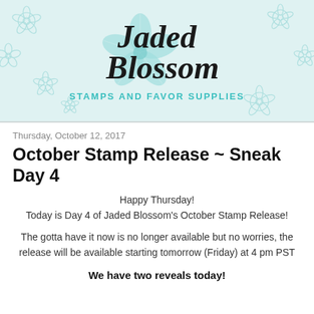[Figure (logo): Jaded Blossom Stamps and Favor Supplies logo with decorative teal flower background and cursive script text]
Thursday, October 12, 2017
October Stamp Release ~ Sneak Day 4
Happy Thursday!
Today is Day 4 of Jaded Blossom's October Stamp Release!
The gotta have it now is no longer available but no worries, the release will be available starting tomorrow (Friday) at 4 pm PST
We have two reveals today!